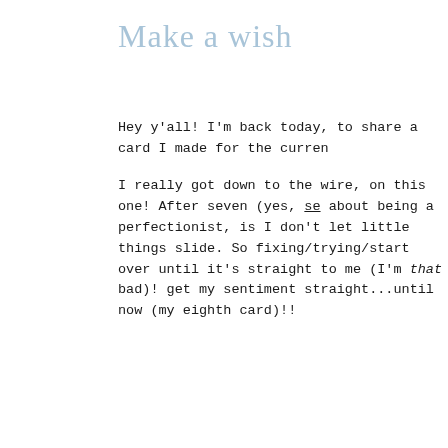Make a wish
Hey y'all! I'm back today, to share a card I made for the curren
I really got down to the wire, on this one! After seven (yes, se about being a perfectionist, is I don't let little things slide. So fixing/trying/start over until it's straight to me (I'm that bad)! get my sentiment straight...until now (my eighth card)!!
[Figure (other): Partially visible card showing 'CASO' logo text with red letter, 'CU' subtitle text, dashed line, and 'STA' text below]